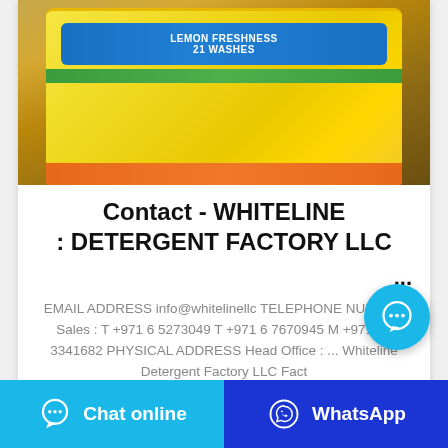[Figure (photo): Yellow detergent bag (lemon freshness) lying on a wooden surface. The bag has a blue label area in the center, green band, and orange bottom band. The product appears to be a laundry detergent branded with 'WHITELINE' or similar.]
Contact - WHITELINE : DETERGENT FACTORY LLC
...
EMAIL ADDRESS info@whitelinellc TELEPHONE NUMBER Sales : T +971 6 5273049 T +971 6 7670945 M +971 50 3341682 PHYSICAL ADDRESS Head Office : ... Whiteline Detergent Factory LLC Fact
Chat online
WhatsApp